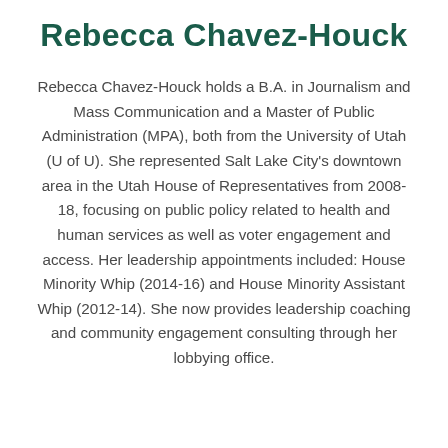Rebecca Chavez-Houck
Rebecca Chavez-Houck holds a B.A. in Journalism and Mass Communication and a Master of Public Administration (MPA), both from the University of Utah (U of U). She represented Salt Lake City's downtown area in the Utah House of Representatives from 2008-18, focusing on public policy related to health and human services as well as voter engagement and access. Her leadership appointments included: House Minority Whip (2014-16) and House Minority Assistant Whip (2012-14). She now provides leadership coaching and community engagement consulting through her lobbying office.